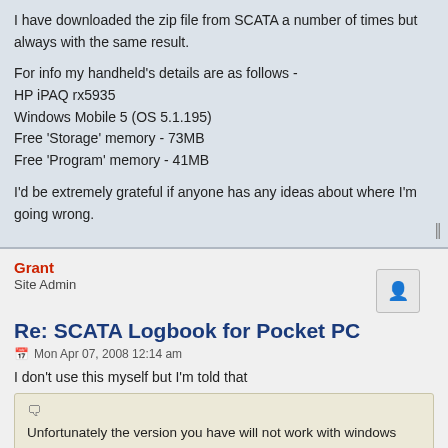I have downloaded the zip file from SCATA a number of times but always with the same result.

For info my handheld's details are as follows -
HP iPAQ rx5935
Windows Mobile 5 (OS 5.1.195)
Free 'Storage' memory - 73MB
Free 'Program' memory - 41MB

I'd be extremely grateful if anyone has any ideas about where I'm going wrong.
Grant
Site Admin
Re: SCATA Logbook for Pocket PC
Mon Apr 07, 2008 12:14 am
I don't use this myself but I'm told that
Unfortunately the version you have will not work with windows mobile 5 or 6 devices, due to a security issue; the installer simply crashes.